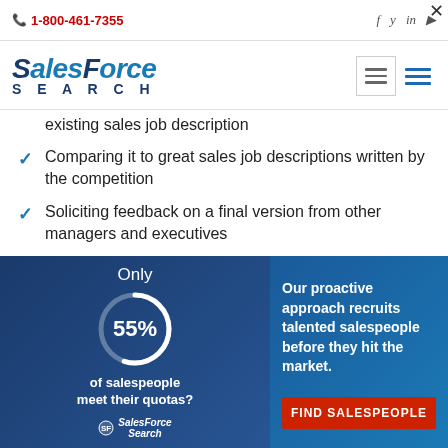1-800-461-7355
[Figure (logo): SalesForce Search logo with hamburger menu icons]
existing sales job description
Comparing it to great sales job descriptions written by the competition
Soliciting feedback on a final version from other managers and executives
Separate Must-Haves from Want-to-
A co they in sp poss wou
[Figure (infographic): Ad overlay: Only 55% of salespeople meet their quotas? Our proactive approach recruits talented salespeople before they hit the market. FIND SALESPEOPLE button. SalesForce Search logo.]